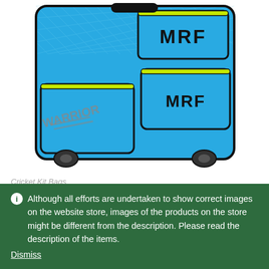[Figure (photo): MRF Warrior Cricket Kit Bag in blue with yellow-green trim and black accents, showing multiple zippered pockets with MRF and Warrior branding]
Cricket Kit Bags
MRF Warrior Cricket Kit Bag Blue (Large)
Although all efforts are undertaken to show correct images on the website store, images of the products on the store might be different from the description. Please read the description of the items.
Dismiss